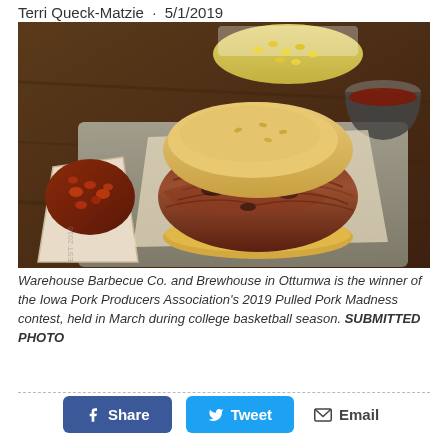Terri Queck-Matzie · 5/1/2019
[Figure (photo): A pulled pork sandwich on a bun with a generous portion of smoked pulled pork, served on a metal tray alongside a paper tray of baked beans and a small cup of barbecue sauce. Background shows corn salad in a white container.]
Warehouse Barbecue Co. and Brewhouse in Ottumwa is the winner of the Iowa Pork Producers Association's 2019 Pulled Pork Madness contest, held in March during college basketball season. SUBMITTED PHOTO